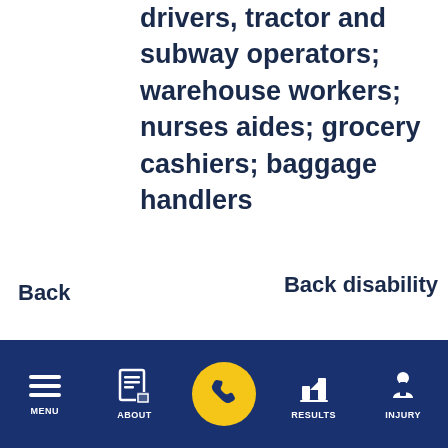drivers, tractor and subway operators; warehouse workers; nurses aides; grocery cashiers; baggage handlers
Back
Back disability
Back to top